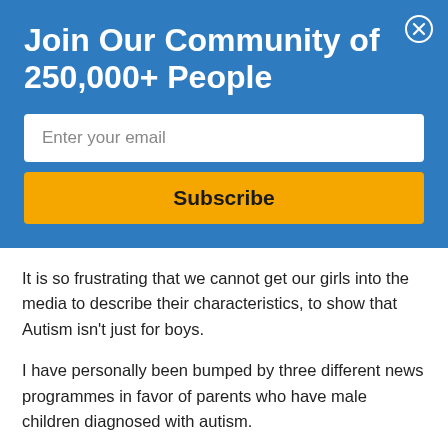Join Our Community of 250,000+ People
Enter your email
Subscribe
It is so frustrating that we cannot get our girls into the media to describe their characteristics, to show that Autism isn't just for boys.
I have personally been bumped by three different news programmes in favor of parents who have male children diagnosed with autism.
We know that some autistic boys rock, we know they like to line up toy cars and spin the wheels, favoring the